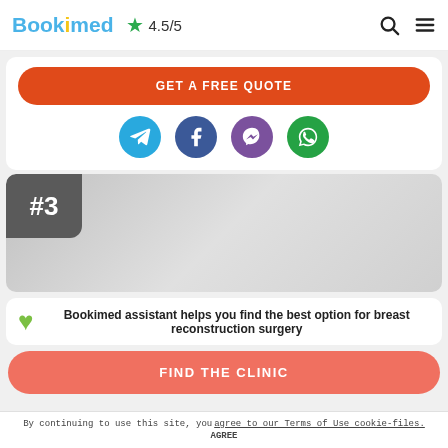Bookimed ★ 4.5/5
GET A FREE QUOTE
[Figure (illustration): Social media icons: Telegram, Facebook, Viber, WhatsApp]
#3
Bookimed assistant helps you find the best option for breast reconstruction surgery
FIND THE CLINIC
By continuing to use this site, you agree to our Terms of Use cookie-files. AGREE